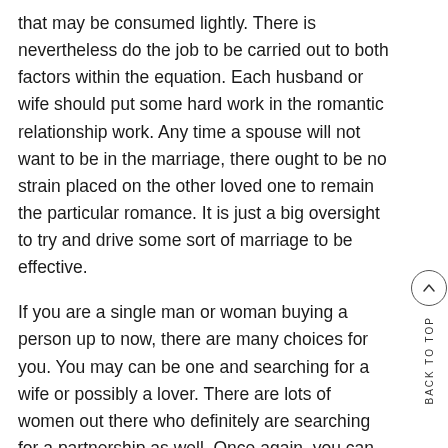that may be consumed lightly. There is nevertheless do the job to be carried out to both factors within the equation. Each husband or wife should put some hard work in the romantic relationship work. Any time a spouse will not want to be in the marriage, there ought to be no strain placed on the other loved one to remain the particular romance. It is just a big oversight to try and drive some sort of marriage to be effective.
If you are a single man or woman buying a person up to now, there are many choices for you. You may can be one and searching for a wife or possibly a lover. There are lots of women out there who definitely are searching for a partnership as well. Once again, you can choose to date simply a individual person or you can look at a lady who is currently within a connection. You have to know the particular females tend not to